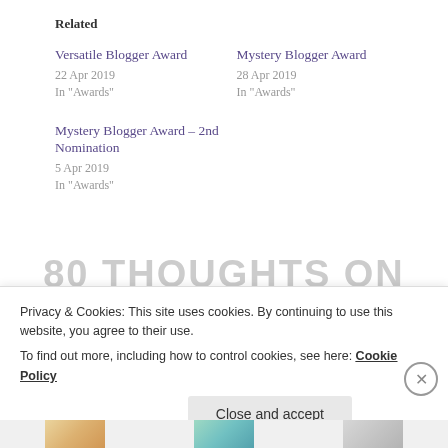Related
Versatile Blogger Award
22 Apr 2019
In "Awards"
Mystery Blogger Award
28 Apr 2019
In "Awards"
Mystery Blogger Award – 2nd Nomination
5 Apr 2019
In "Awards"
80 THOUGHTS ON
Privacy & Cookies: This site uses cookies. By continuing to use this website, you agree to their use.
To find out more, including how to control cookies, see here: Cookie Policy
Close and accept